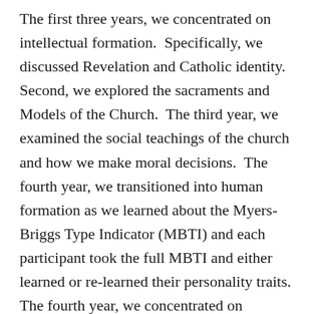The first three years, we concentrated on intellectual formation. Specifically, we discussed Revelation and Catholic identity. Second, we explored the sacraments and Models of the Church. The third year, we examined the social teachings of the church and how we make moral decisions. The fourth year, we transitioned into human formation as we learned about the Myers-Briggs Type Indicator (MBTI) and each participant took the full MBTI and either learned or re-learned their personality traits. The fourth year, we concentrated on spiritual formation and had a retreat entitled Formed to Live Joyfully Our Time, Talent and Treasure. Materials for this retreat are still online should a parish decide to offer to their